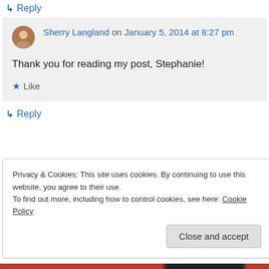↳ Reply
Sherry Langland on January 5, 2014 at 8:27 pm
Thank you for reading my post, Stephanie!
★ Like
↳ Reply
Privacy & Cookies: This site uses cookies. By continuing to use this website, you agree to their use. To find out more, including how to control cookies, see here: Cookie Policy
Close and accept